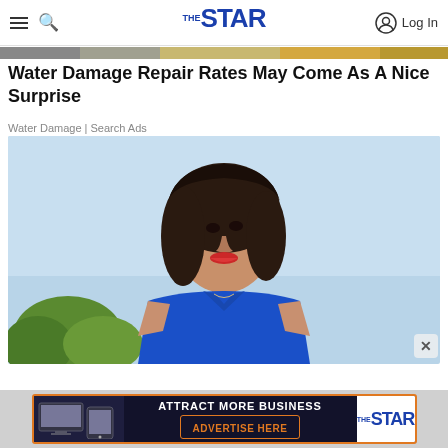THE STAR - Log In
[Figure (photo): Partial strip image at top of article area]
Water Damage Repair Rates May Come As A Nice Surprise
Water Damage | Search Ads
[Figure (photo): Smiling middle-aged woman with dark hair wearing a blue sleeveless top, outdoors with blue sky and green trees in background]
[Figure (other): Advertisement banner: ATTRACT MORE BUSINESS - ADVERTISE HERE - The Star logo]